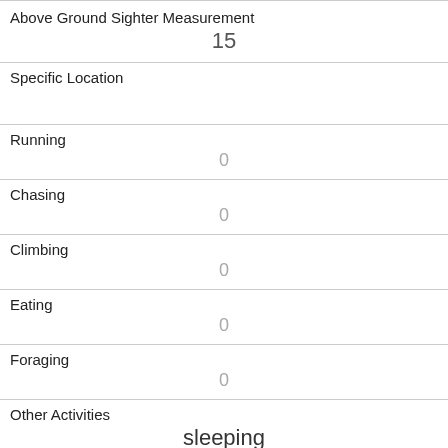| Above Ground Sighter Measurement | 15 |
| Specific Location |  |
| Running | 0 |
| Chasing | 0 |
| Climbing | 0 |
| Eating | 0 |
| Foraging | 0 |
| Other Activities | sleeping |
| Kuks | 0 |
| Quaas | 0 |